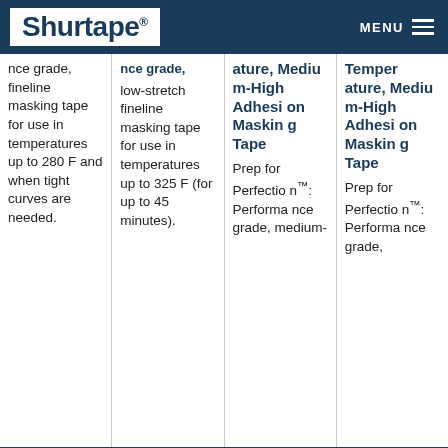Shurtape® | MENU
nce grade, fineline masking tape for use in temperatures up to 280 F and when tight curves are needed.
nce grade, low-stretch fineline masking tape for use in temperatures up to 325 F (for up to 45 minutes).
ature, Medium-High Adhesion Masking Tape
Prep for Perfection™: Performance grade, medium-
Temperature, Medium-High Adhesion Masking Tape
Prep for Perfection™: Performance grade,